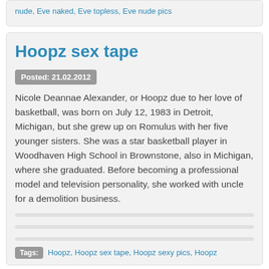nude, Eve naked, Eve topless, Eve nude pics
Hoopz sex tape
Posted: 21.02.2012
Nicole Deannae Alexander, or Hoopz due to her love of basketball, was born on July 12, 1983 in Detroit, Michigan, but she grew up on Romulus with her five younger sisters. She was a star basketball player in Woodhaven High School in Brownstone, also in Michigan, where she graduated. Before becoming a professional model and television personality, she worked with uncle for a demolition business.
Tags: Hoopz, Hoopz sex tape, Hoopz sexy pics, Hoopz